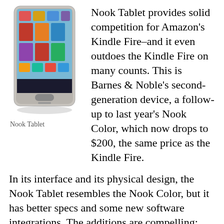[Figure (photo): Photo of a Nook Tablet device showing colorful app/book icons on its screen]
Nook Tablet
Nook Tablet provides solid competition for Amazon's Kindle Fire–and it even outdoes the Kindle Fire on many counts. This is Barnes & Noble's second-generation device, a follow-up to last year's Nook Color, which now drops to $200, the same price as the Kindle Fire.
In its interface and its physical design, the Nook Tablet resembles the Nook Color, but it has better specs and some new software integrations. The additions are compelling; and as an e-reader, the Nook Tablet continues to excel. However, when compared against the larger array of available tablet models, the Nook Tablet suffers from some of